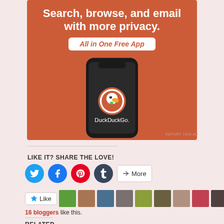[Figure (illustration): DuckDuckGo advertisement on orange background showing a phone with DuckDuckGo logo and text: Search, browse, and email with more privacy. All in One Free App. DuckDuckGo.]
REPORT THIS AD
LIKE IT? SHARE THE LOVE!
[Figure (other): Social sharing buttons: Twitter, Facebook, Pinterest, Tumblr, and More]
[Figure (other): Like button widget with blogger avatars]
16 bloggers like this.
RELATED